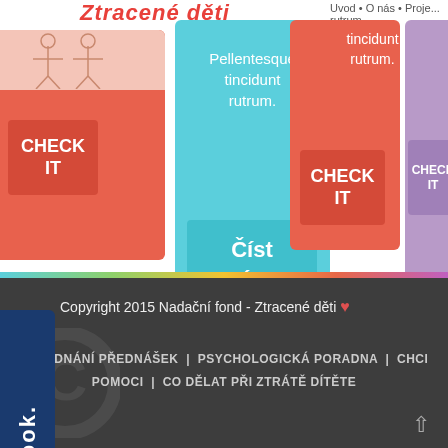Ztracené děti • Uvod • O nás • Proje...
[Figure (screenshot): Website screenshot showing colorful card blocks. Card 1 (salmon/orange): sketch illustration, CHECK IT button. Card 2 (cyan/light blue): text 'Pellentesque tincidunt rutrum.' and 'Číst více' button. Card 3 (orange): text 'tincidunt rutrum.' and CHECK IT button. Card 4 (purple): CHECK IT button. Facebook sidebar (dark blue) on left.]
Copyright 2015 Nadační fond - Ztracené děti ♥ | OBJEDNÁNÍ PŘEDNÁŠEK | PSYCHOLOGICKÁ PORADNA | CHCI POMOCI | CO DĚLAT PŘI ZTRÁTĚ DÍTĚTE